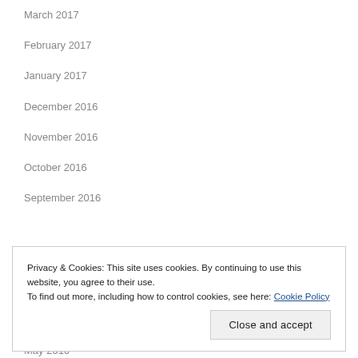March 2017
February 2017
January 2017
December 2016
November 2016
October 2016
September 2016
Privacy & Cookies: This site uses cookies. By continuing to use this website, you agree to their use.
To find out more, including how to control cookies, see here: Cookie Policy
Close and accept
May 2016